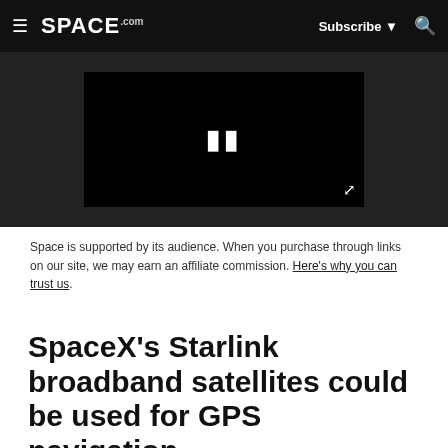SPACE.com — Subscribe | Search
[Figure (screenshot): Video player with pause button on black background, embedded in dark gray area]
Space is supported by its audience. When you purchase through links on our site, we may earn an affiliate commission. Here's why you can trust us.
SpaceX's Starlink broadband satellites could be used for GPS navigation